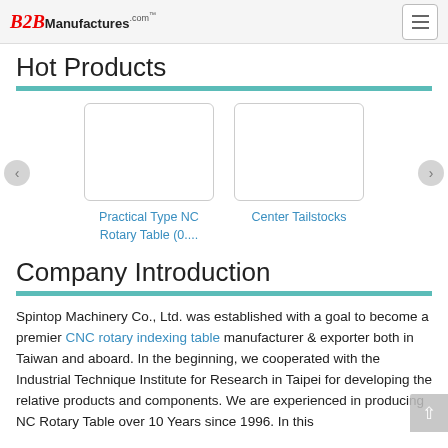B2BManufactures.com
Hot Products
[Figure (photo): Product image placeholder for Practical Type NC Rotary Table (0....)]
Practical Type NC Rotary Table (0....
[Figure (photo): Product image placeholder for Center Tailstocks]
Center Tailstocks
Company Introduction
Spintop Machinery Co., Ltd. was established with a goal to become a premier CNC rotary indexing table manufacturer & exporter both in Taiwan and aboard. In the beginning, we cooperated with the Industrial Technique Institute for Research in Taipei for developing the relative products and components. We are experienced in producing NC Rotary Table over 10 Years since 1996. In this